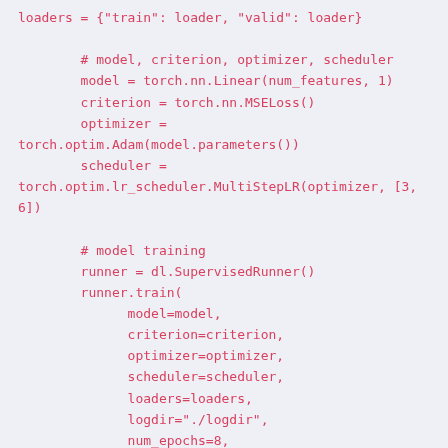loaders = {"train": loader, "valid": loader}

        # model, criterion, optimizer, scheduler
        model = torch.nn.Linear(num_features, 1)
        criterion = torch.nn.MSELoss()
        optimizer =
torch.optim.Adam(model.parameters())
        scheduler =
torch.optim.lr_scheduler.MultiStepLR(optimizer, [3,
6])

        # model training
        runner = dl.SupervisedRunner()
        runner.train(
              model=model,
              criterion=criterion,
              optimizer=optimizer,
              scheduler=scheduler,
              loaders=loaders,
              logdir="./logdir",
              num_epochs=8,
              verbose=True,
              callbacks=
[dl.BatchOverfitCallback(train=10, valid=0.5)]
        )

    """

[docs]    def __init__(self, **kwargs):